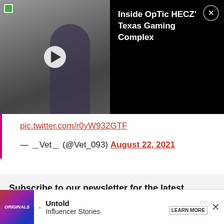[Figure (screenshot): Video player overlay showing a man walking near vehicles, with play button, green badge, black panel with title 'Inside OpTic HECZ' Texas Gaming Complex' and close button]
pic.twitter.com/r0yW932GTF
— 〽Vet〽 (@Vet_093) August 22, 2021
Subscribe to our newsletter for the latest updates on Esports, Gaming and more.
Email
Sign up
[Figure (screenshot): Advertisement banner: Originals logo on left, bullet point, 'Untold Influencer Stories', LEARN MORE button, X close button]